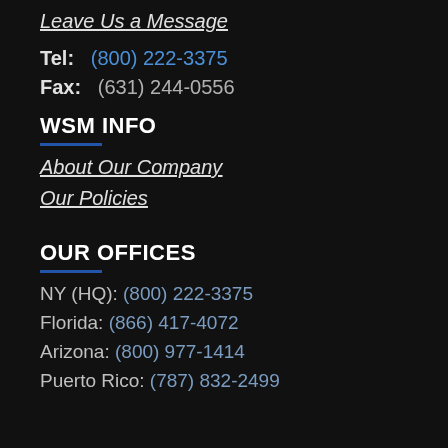Leave Us a Message
Tel: (800) 222-3375
Fax: (631) 244-0556
WSM INFO
About Our Company
Our Policies
OUR OFFICES
NY (HQ): (800) 222-3375
Florida: (866) 417-4072
Arizona: (800) 977-1414
Puerto Rico: (787) 832-2499